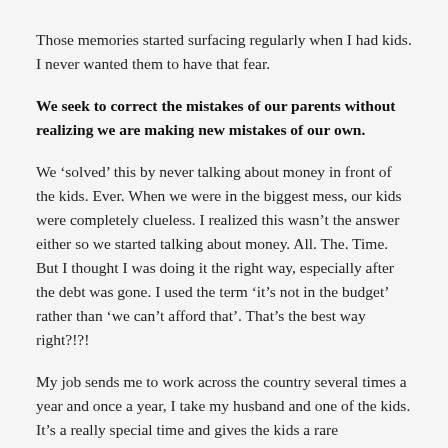Those memories started surfacing regularly when I had kids. I never wanted them to have that fear.
We seek to correct the mistakes of our parents without realizing we are making new mistakes of our own.
We ‘solved’ this by never talking about money in front of the kids. Ever. When we were in the biggest mess, our kids were completely clueless. I realized this wasn’t the answer either so we started talking about money. All. The. Time. But I thought I was doing it the right way, especially after the debt was gone. I used the term ‘it’s not in the budget’ rather than ‘we can’t afford that’. That’s the best way right?!?!
My job sends me to work across the country several times a year and once a year, I take my husband and one of the kids. It’s a really special time and gives the kids a rare opportunity to get extended one on one time. Last summer, we took our 8-year-old to Denver and hiked miles and miles of stunning